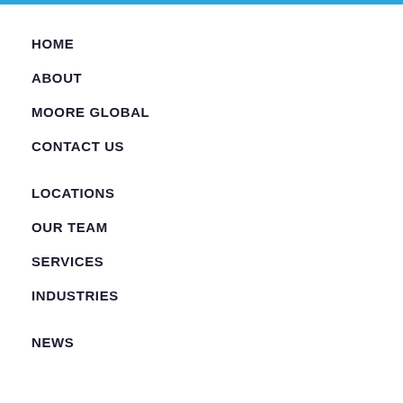HOME
ABOUT
MOORE GLOBAL
CONTACT US
LOCATIONS
OUR TEAM
SERVICES
INDUSTRIES
NEWS